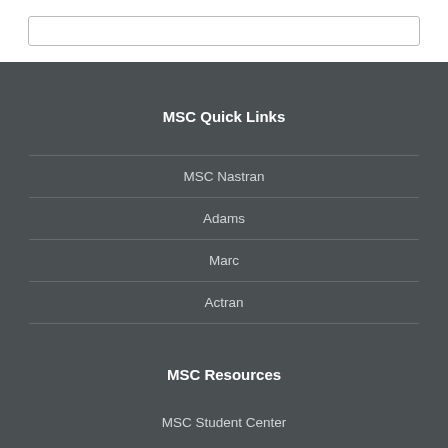MSC Quick Links
MSC Nastran
Adams
Marc
Actran
MSC Resources
MSC Student Center